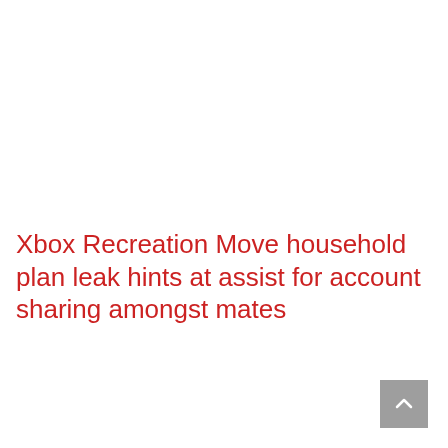Xbox Recreation Move household plan leak hints at assist for account sharing amongst mates